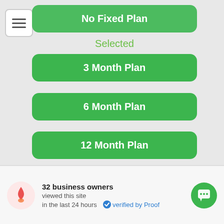[Figure (screenshot): Mobile app UI showing plan selection buttons]
Selected
3 Month Plan
6 Month Plan
12 Month Plan
32 business owners viewed this site in the last 24 hours  verified by Proof